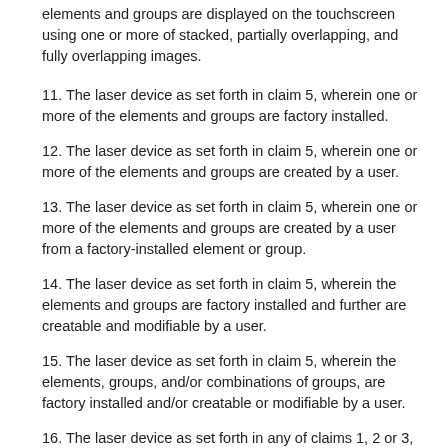elements and groups are displayed on the touchscreen using one or more of stacked, partially overlapping, and fully overlapping images.
11. The laser device as set forth in claim 5, wherein one or more of the elements and groups are factory installed.
12. The laser device as set forth in claim 5, wherein one or more of the elements and groups are created by a user.
13. The laser device as set forth in claim 5, wherein one or more of the elements and groups are created by a user from a factory-installed element or group.
14. The laser device as set forth in claim 5, wherein the elements and groups are factory installed and further are creatable and modifiable by a user.
15. The laser device as set forth in claim 5, wherein the elements, groups, and/or combinations of groups, are factory installed and/or creatable or modifiable by a user.
16. The laser device as set forth in any of claims 1, 2 or 3, wherein one or